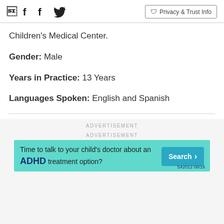Facebook Twitter | Privacy & Trust Info
Children's Medical Center.
Gender: Male
Years in Practice: 13 Years
Languages Spoken: English and Spanish
ADVERTISEMENT
ADVERTISEMENT
[Figure (other): Advertisement banner for ADHD treatment with teal background. Text: 'Time to talk to your child's doctor about an ADHD treatment option?' with a Search button and footnote S42012 08/18]